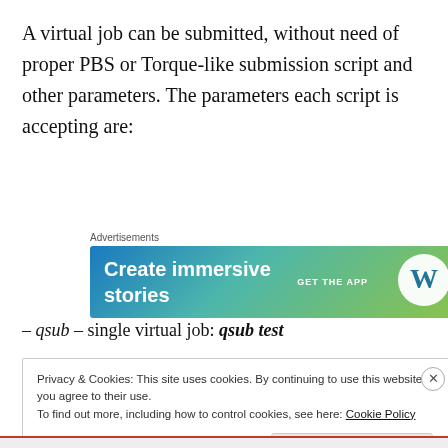A virtual job can be submitted, without need of proper PBS or Torque-like submission script and other parameters. The parameters each script is accepting are:
[Figure (other): Advertisements banner: 'Create immersive stories' with WordPress logo and 'GET THE APP' call to action on a blue-green gradient background]
– qsub – single virtual job: qsub test
Privacy & Cookies: This site uses cookies. By continuing to use this website, you agree to their use.
To find out more, including how to control cookies, see here: Cookie Policy
Close and accept